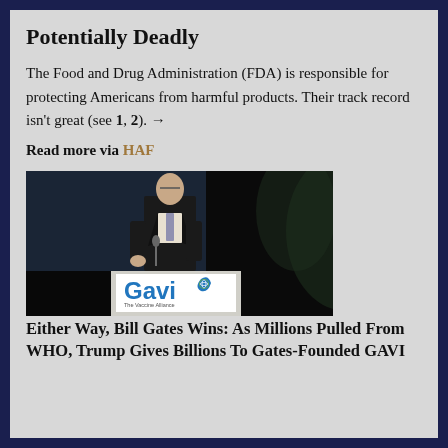Potentially Deadly
The Food and Drug Administration (FDA) is responsible for protecting Americans from harmful products. Their track record isn't great (see 1, 2). →
Read more via HAF
[Figure (photo): Man in suit speaking at a podium with a Gavi The Vaccine Alliance sign]
Either Way, Bill Gates Wins: As Millions Pulled From WHO, Trump Gives Billions To Gates-Founded GAVI